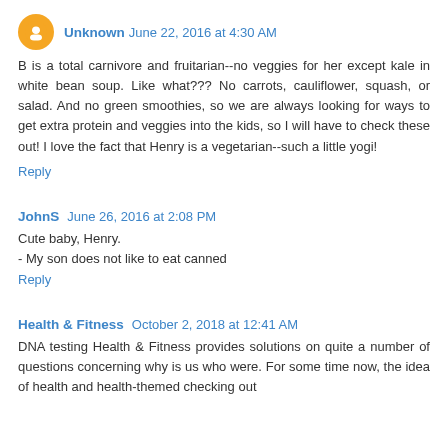Unknown  June 22, 2016 at 4:30 AM
B is a total carnivore and fruitarian--no veggies for her except kale in white bean soup. Like what??? No carrots, cauliflower, squash, or salad. And no green smoothies, so we are always looking for ways to get extra protein and veggies into the kids, so I will have to check these out! I love the fact that Henry is a vegetarian--such a little yogi!
Reply
JohnS  June 26, 2016 at 2:08 PM
Cute baby, Henry.
- My son does not like to eat canned
Reply
Health & Fitness  October 2, 2018 at 12:41 AM
DNA testing Health & Fitness provides solutions on quite a number of questions concerning why is us who were. For some time now, the idea of health and health-themed checking out